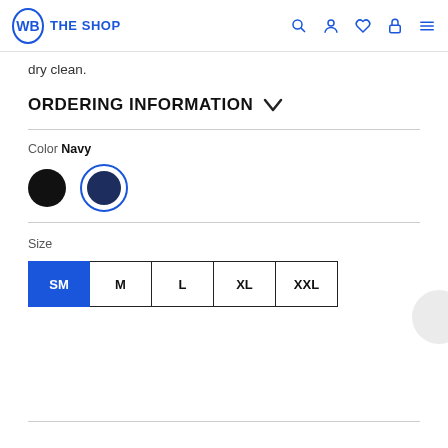WB THE SHOP
dry clean.
ORDERING INFORMATION
Color Navy
Size
SM M L XL XXL